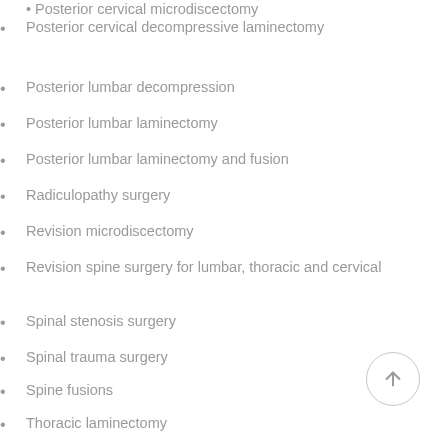Posterior cervical microdiscectomy
Posterior cervical decompressive laminectomy
Posterior lumbar decompression
Posterior lumbar laminectomy
Posterior lumbar laminectomy and fusion
Radiculopathy surgery
Revision microdiscectomy
Revision spine surgery for lumbar, thoracic and cervical
Spinal stenosis surgery
Spinal trauma surgery
Spine fusions
Thoracic laminectomy
Thoracic fusions
Vertebroplasty